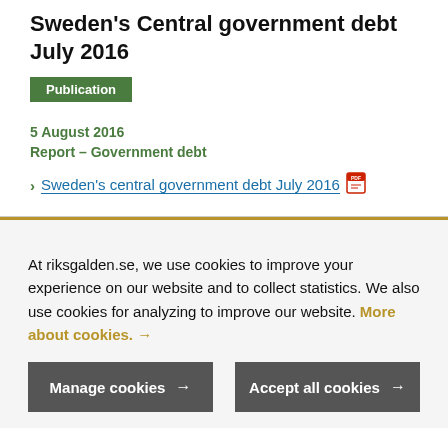Sweden's Central government debt July 2016
Publication
5 August 2016
Report – Government debt
Sweden's central government debt July 2016
At riksgalden.se, we use cookies to improve your experience on our website and to collect statistics. We also use cookies for analyzing to improve our website. More about cookies. →
Manage cookies →
Accept all cookies →